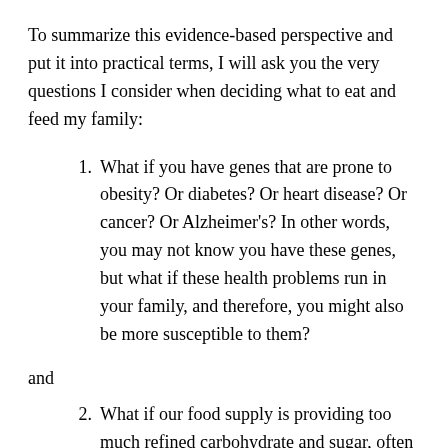To summarize this evidence-based perspective and put it into practical terms, I will ask you the very questions I consider when deciding what to eat and feed my family:
1. What if you have genes that are prone to obesity? Or diabetes? Or heart disease? Or cancer? Or Alzheimer’s? In other words, you may not know you have these genes, but what if these health problems run in your family, and therefore, you might also be more susceptible to them?
and
2. What if our food supply is providing too much refined carbohydrate and sugar, often in hidden places, so that it’s nearly impossible to eat within the recommended guidelines (if you’re not